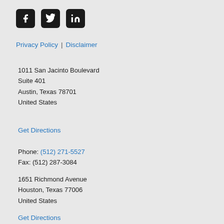[Figure (logo): Social media icons: Facebook, Twitter, LinkedIn — dark square rounded icons with white logos]
Privacy Policy | Disclaimer
1011 San Jacinto Boulevard
Suite 401
Austin, Texas 78701
United States
Get Directions
Phone: (512) 271-5527
Fax: (512) 287-3084
1651 Richmond Avenue
Houston, Texas 77006
United States
Get Directions
Phone: (713) 337-1333
Fax: (713) 337-1334